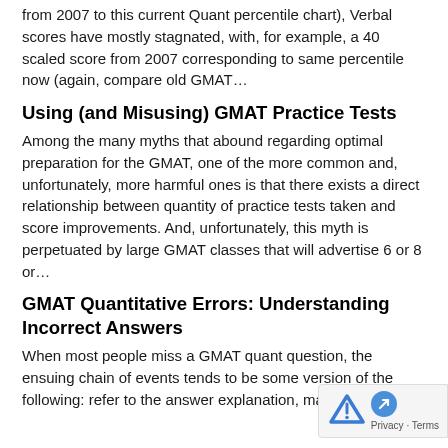from 2007 to this current Quant percentile chart), Verbal scores have mostly stagnated, with, for example, a 40 scaled score from 2007 corresponding to same percentile now (again, compare old GMAT...
Using (and Misusing) GMAT Practice Tests
Among the many myths that abound regarding optimal preparation for the GMAT, one of the more common and, unfortunately, more harmful ones is that there exists a direct relationship between quantity of practice tests taken and score improvements. And, unfortunately, this myth is perpetuated by large GMAT classes that will advertise 6 or 8 or...
GMAT Quantitative Errors: Understanding Incorrect Answers
When most people miss a GMAT quant question, the ensuing chain of events tends to be some version of the following: refer to the answer explanation, make...